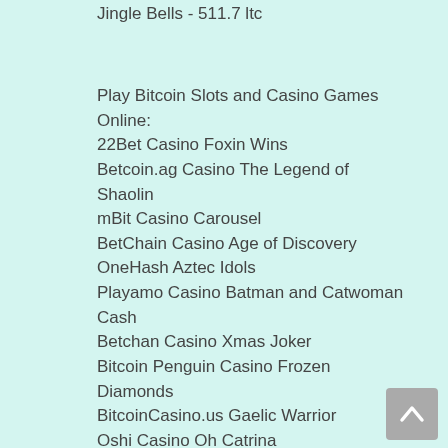Jingle Bells - 511.7 ltc
Play Bitcoin Slots and Casino Games Online:
22Bet Casino Foxin Wins
Betcoin.ag Casino The Legend of Shaolin
mBit Casino Carousel
BetChain Casino Age of Discovery
OneHash Aztec Idols
Playamo Casino Batman and Catwoman Cash
Betchan Casino Xmas Joker
Bitcoin Penguin Casino Frozen Diamonds
BitcoinCasino.us Gaelic Warrior
Oshi Casino Oh Catrina
mBTC free bet Neon Reels
BitStarz Casino Burning Stars
Syndicate Casino Riches of Ra
King Billy Casino Alaxe in Zombieland
Betcoin.ag Casino Three Musketeers